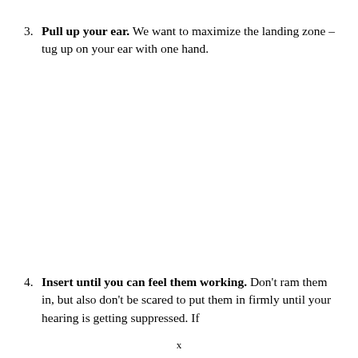3. Pull up your ear. We want to maximize the landing zone – tug up on your ear with one hand.
4. Insert until you can feel them working. Don't ram them in, but also don't be scared to put them in firmly until your hearing is getting suppressed. If
x